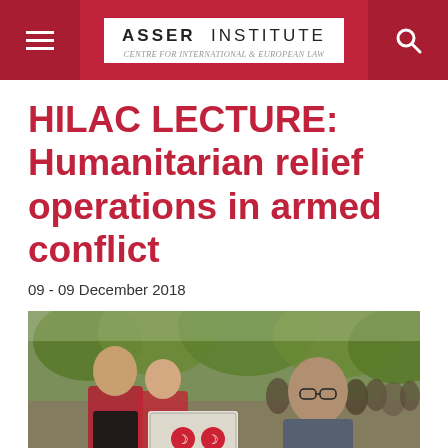Asser Institute – Centre for International & European Law
HILAC LECTURE: Humanitarian relief operations in armed conflict
09 - 09 December 2018
[Figure (photo): Two men, one handing a box with a Turkish Red Crescent logo to another, with a crowd of people and green trees in the background. The scene depicts a humanitarian relief distribution operation.]